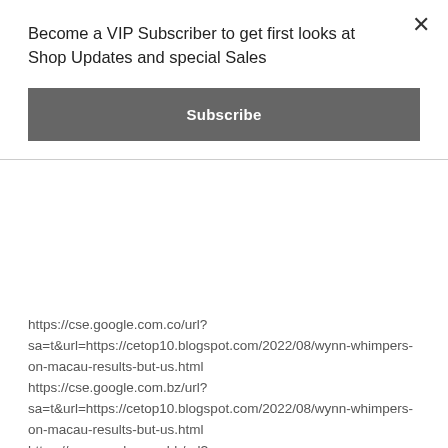Become a VIP Subscriber to get first looks at Shop Updates and special Sales
Subscribe
https://cse.google.com.co/url?sa=t&url=https://cetop10.blogspot.com/2022/08/wynn-whimpers-on-macau-results-but-us.html https://cse.google.com.bz/url?sa=t&url=https://cetop10.blogspot.com/2022/08/wynn-whimpers-on-macau-results-but-us.html https://cse.google.com.bh/url?sa=t&url=https://cetop10.blogspot.com/2022/08/wynn-whimpers-on-macau-results-but-us.html https://cse.google.com.bd/url?sa=t&url=https://cetop10.blogspot.com/2022/08/wynn-whimpers-on-macau-results-but-us.html https://cse.google.com.au/url?sa=t&url=https://cetop10.blogspot.com/2022/08/wynn-whimpers-on-macau-results-but-us.html